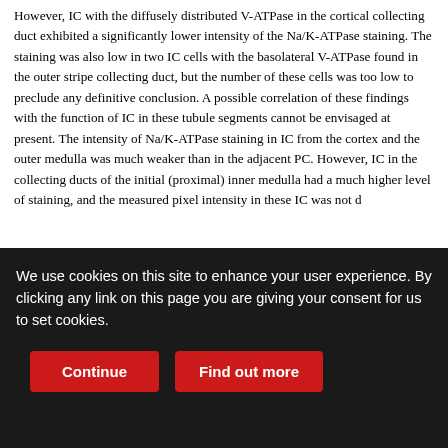However, IC with the diffusely distributed V-ATPase in the cortical collecting duct exhibited a significantly lower intensity of the Na/K-ATPase staining. The staining was also low in two IC cells with the basolateral V-ATPase found in the outer stripe collecting duct, but the number of these cells was too low to preclude any definitive conclusion. A possible correlation of these findings with the function of IC in these tubule segments cannot be envisaged at present. The intensity of Na/K-ATPase staining in IC from the cortex and the outer medulla was much weaker than in the adjacent PC. However, IC in the collecting ducts of the initial (proximal) inner medulla had a much higher level of staining, and the measured pixel intensity in these IC was not d
[Figure (other): Advertisement banner: OUR NEW SOLUTION FOR AV FISTULA CREATION - LEARN MORE - The Ellipsys Vascular Access System. Medtronic]
The strong staining intensity in both IC and PC of the collecting ducts
We use cookies on this site to enhance your user experience. By clicking any link on this page you are giving your consent for us to set cookies.
Continue   Find out more